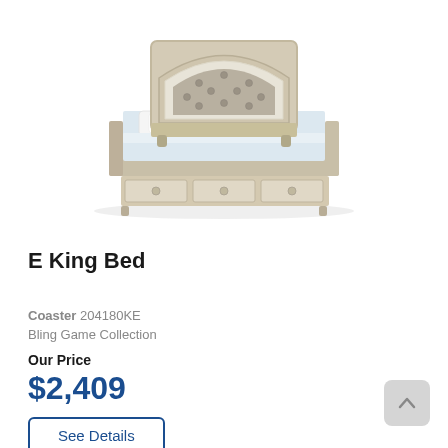[Figure (photo): E King Bed product photo — a silver/champagne upholstered storage bed with tufted headboard and three under-bed drawers, dressed with white bedding, on a white background.]
E King Bed
Coaster 204180KE
Bling Game Collection
Our Price
$2,409
See Details